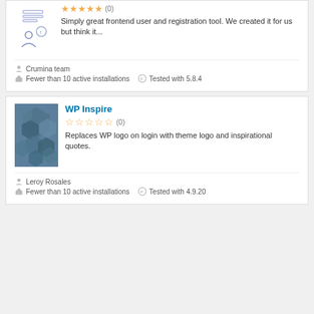[Figure (illustration): Plugin listing card top portion cut off - showing illustration of person with form/document and Facebook icon]
Simply great frontend user and registration tool. We created it for us but think it...
Crumina team
Fewer than 10 active installations  Tested with 5.8.4
WP Inspire
(0) stars rating
Replaces WP logo on login with theme logo and inspirational quotes.
Leroy Rosales
Fewer than 10 active installations  Tested with 4.9.20